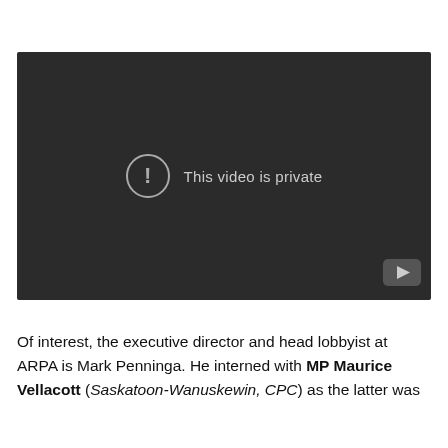[Figure (screenshot): Embedded video player showing 'This video is private' message on a dark background with a YouTube logo in the bottom-right corner.]
Of interest, the executive director and head lobbyist at ARPA is Mark Penninga. He interned with MP Maurice Vellacott (Saskatoon-Wanuskewin, CPC) as the latter was